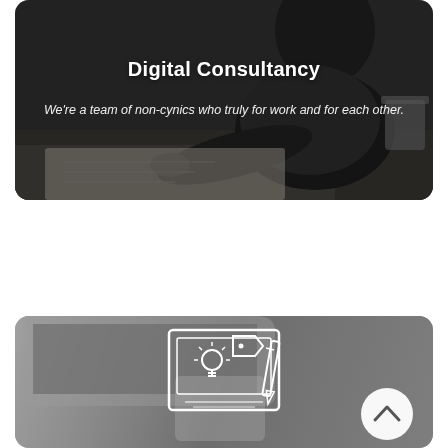[Figure (photo): Dark-themed card with photo of a person writing/working at a desk. Overlaid with title 'Digital Consultancy' and subtitle text. Rounded corners.]
Digital Consultancy
We're a team of non-cynics who truly for work and for each other.
[Figure (illustration): Dark grey card with a white line-art icon showing design/creative tools (lightbulb, screen, pencil, design elements). A white circular scroll-up button with chevron arrow is in the bottom right corner.]